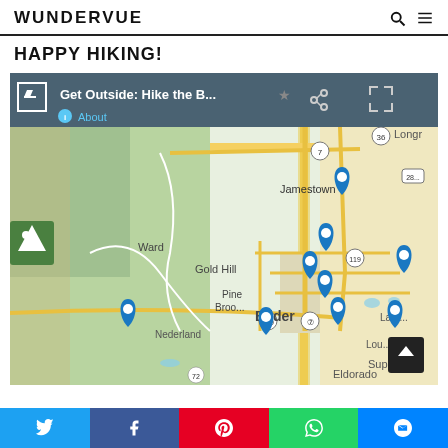WUNDERVUE
HAPPY HIKING!
[Figure (screenshot): Interactive map screenshot showing Boulder, Colorado area with blue location pin markers for hiking trails. Map toolbar shows 'Get Outside: Hike the B...' title with About link, share icon, star icon, and fullscreen icon. Map shows areas including Jamestown, Ward, Gold Hill, Pine Brook, Boulder, Nederland, Eldorado, Louisville, Lafayette, and Longmont.]
Twitter | Facebook | Pinterest | WhatsApp | Messenger